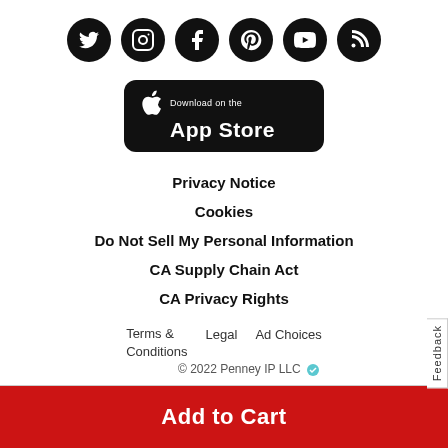[Figure (illustration): Row of six social media icons (Twitter, Instagram, Facebook, Pinterest, YouTube, RSS/Blog) as white icons on black circular backgrounds]
[Figure (illustration): Download on the App Store button with Apple logo, black rounded rectangle background]
Privacy Notice
Cookies
Do Not Sell My Personal Information
CA Supply Chain Act
CA Privacy Rights
Terms & Conditions   Legal   Ad Choices
© 2022 Penney IP LLC
Add to Cart
Feedback